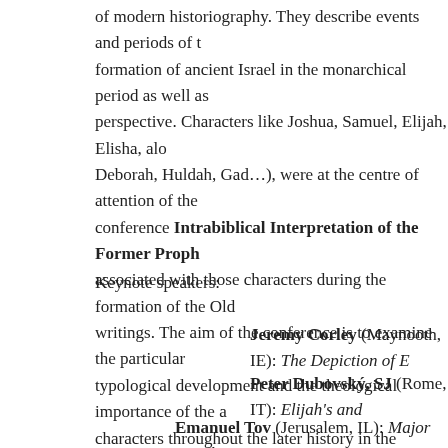of modern historiography. They describe events and periods of the formation of ancient Israel in the monarchical period as well as perspective. Characters like Joshua, Samuel, Elijah, Elisha, along with Deborah, Huldah, Gad…), were at the centre of attention of the conference Intrabiblical Interpretation of the Former Prophets associated with those characters during the formation of the Old writings. The aim of the conference is to examine the particular typological development and the theological importance of the characters throughout the later history in the canonical writings and the Prophets.
Keynote speakers:
Jeremy Corley (Maynooth, IE): The Depiction of E
Peter Dubovský, SJ (Rome, IT): Elijah's and
Emanuel Tov (Jerusalem, IL): Major Israelite Figures in